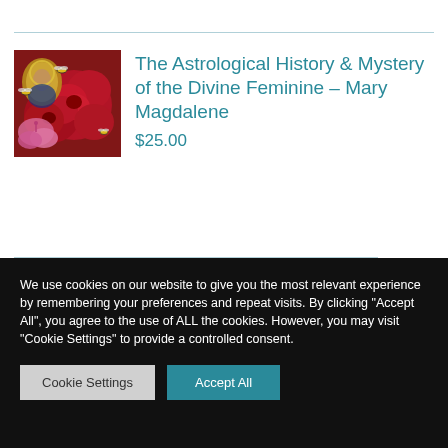[Figure (illustration): Book or product cover image showing red roses, pink lilies, bees, and a religious icon (Mary) with golden halo against a floral background]
The Astrological History & Mystery of the Divine Feminine – Mary Magdalene
$25.00
We use cookies on our website to give you the most relevant experience by remembering your preferences and repeat visits. By clicking "Accept All", you agree to the use of ALL the cookies. However, you may visit "Cookie Settings" to provide a controlled consent.
Cookie Settings
Accept All